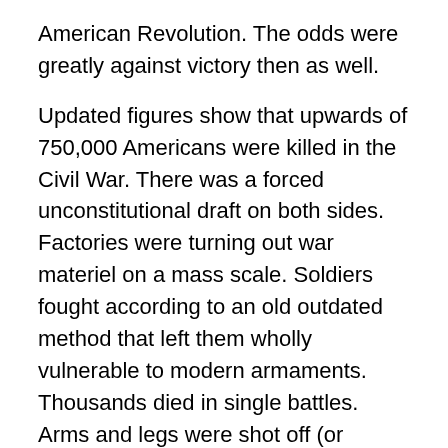American Revolution. The odds were greatly against victory then as well.
Updated figures show that upwards of 750,000 Americans were killed in the Civil War. There was a forced unconstitutional draft on both sides. Factories were turning out war materiel on a mass scale. Soldiers fought according to an old outdated method that left them wholly vulnerable to modern armaments. Thousands died in single battles. Arms and legs were shot off (or sawed off later). The lives of young Americans had suddenly become very cheap. Approximately one third of Southern men in the prime of life met their doom. The South never recovered. These were the great men, on both sides, of strong character and vitality, American men shortly descended from the greats who won the Revolution. But they were being butchered. It was a terroristic war, one